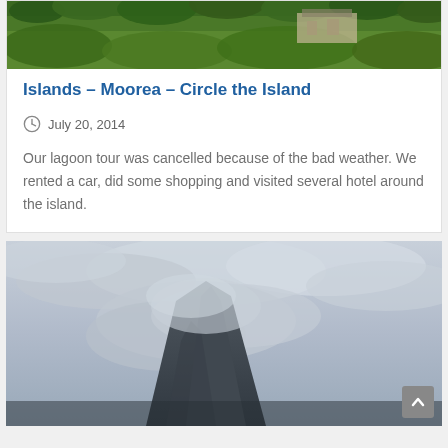[Figure (photo): Green tropical vegetation and foliage at the top, with a building partially visible in the background.]
Islands – Moorea – Circle the Island
July 20, 2014
Our lagoon tour was cancelled because of the bad weather. We rented a car, did some shopping and visited several hotel around the island.
[Figure (photo): A mountainous island peak shrouded in mist and clouds, with a moody overcast sky above.]